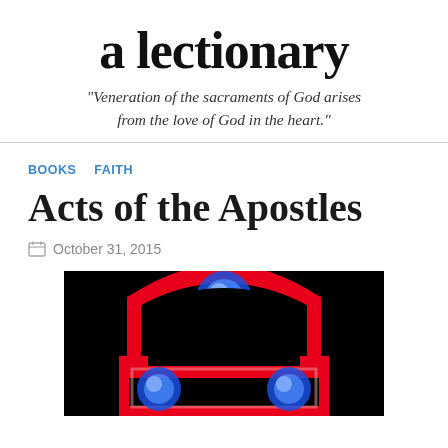a lectionary
"Veneration of the sacraments of God arises from the love of God in the heart."
BOOKS   FAITH
Acts of the Apostles
October 31, 2015
[Figure (photo): A stained glass or neon-style image showing a cross or religious symbol with blue circular elements and a red arch on a black background.]